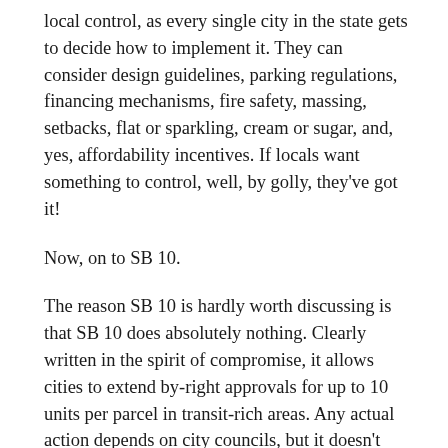local control, as every single city in the state gets to decide how to implement it. They can consider design guidelines, parking regulations, financing mechanisms, fire safety, massing, setbacks, flat or sparkling, cream or sugar, and, yes, affordability incentives. If locals want something to control, well, by golly, they've got it!
Now, on to SB 10.
The reason SB 10 is hardly worth discussing is that SB 10 does absolutely nothing. Clearly written in the spirit of compromise, it allows cities to extend by-right approvals for up to 10 units per parcel in transit-rich areas. Any actual action depends on city councils, but it doesn't mandate anything. Milquetoast as SB 10 is, everyone who even pretends to support housing should have been able to tolerate it. Instead, I saw Livable California mailers that predicted apocalyptic levels of construction. So much for compromise. For cities that